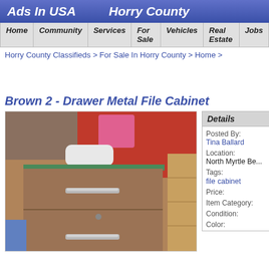Ads In USA   Horry County
Home  Community  Services  For Sale  Vehicles  Real Estate  Jobs
Horry County Classifieds > For Sale In Horry County > Home >
Brown 2 - Drawer Metal File Cabinet
[Figure (photo): Photo of a brown 2-drawer metal file cabinet with silver handles, surrounded by other items in a cluttered room with a red background.]
| Details |
| --- |
| Posted By: | Tina Ballard |
| Location: | North Myrtle Be... |
| Tags: | file  cabinet |
| Price: |  |
| Item Category: |  |
| Condition: |  |
| Color: |  |